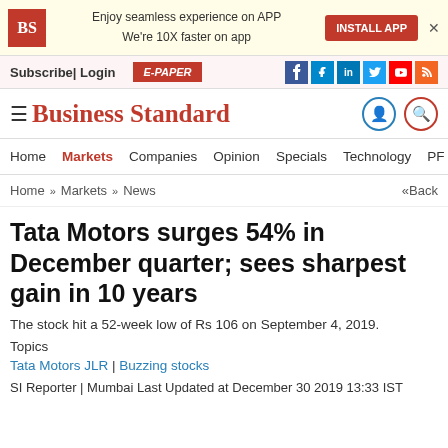BS | Enjoy seamless experience on APP We're 10X faster on app | INSTALL APP
Subscribe| Login | E-PAPER
Business Standard
Home   Markets   Companies   Opinion   Specials   Technology   PF   Po
Home » Markets » News    «Back
Tata Motors surges 54% in December quarter; sees sharpest gain in 10 years
The stock hit a 52-week low of Rs 106 on September 4, 2019.
Topics
Tata Motors JLR | Buzzing stocks
SI Reporter | Mumbai Last Updated at December 30 2019 13:33 IST